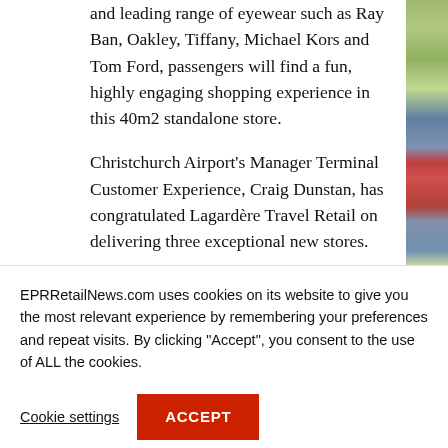and leading range of eyewear such as Ray Ban, Oakley, Tiffany, Michael Kors and Tom Ford, passengers will find a fun, highly engaging shopping experience in this 40m2 standalone store.
Christchurch Airport’s Manager Terminal Customer Experience, Craig Dunstan, has congratulated Lagardère Travel Retail on delivering three exceptional new stores.
“Our team is excited to see the stores open. Their modern, innovative fit out and offering is outstanding and further enhances our retail offering. The feedback received to date has been excellent and leaves us in no
EPRRetailNews.com uses cookies on its website to give you the most relevant experience by remembering your preferences and repeat visits. By clicking “Accept”, you consent to the use of ALL the cookies.
Cookie settings
ACCEPT